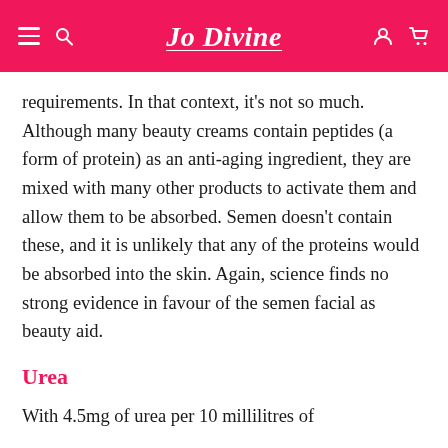Jo Divine
requirements. In that context, it’s not so much. Although many beauty creams contain peptides (a form of protein) as an anti-aging ingredient, they are mixed with many other products to activate them and allow them to be absorbed. Semen doesn’t contain these, and it is unlikely that any of the proteins would be absorbed into the skin. Again, science finds no strong evidence in favour of the semen facial as beauty aid.
Urea
With 4.5mg of urea per 10 millilitres of